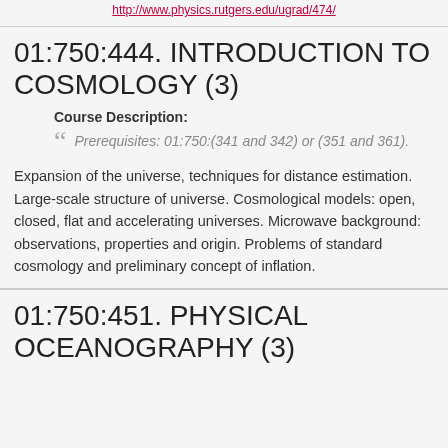http://www.physics.rutgers.edu/ugrad/474/
01:750:444. INTRODUCTION TO COSMOLOGY (3)
Course Description:
Prerequisites: 01:750:(341 and 342) or (351 and 361).
Expansion of the universe, techniques for distance estimation. Large-scale structure of universe. Cosmological models: open, closed, flat and accelerating universes. Microwave background: observations, properties and origin. Problems of standard cosmology and preliminary concept of inflation.
01:750:451. PHYSICAL OCEANOGRAPHY (3)